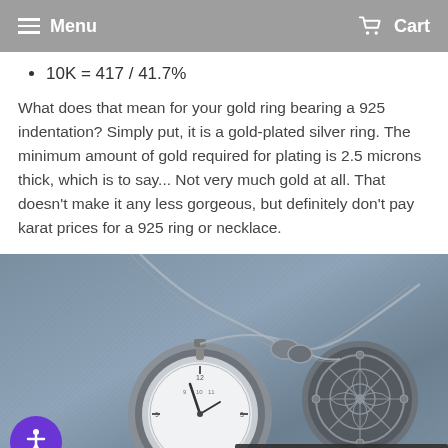Menu   Cart
10K = 417 / 41.7%
What does that mean for your gold ring bearing a 925 indentation? Simply put, it is a gold-plated silver ring. The minimum amount of gold required for plating is 2.5 microns thick, which is to say... Not very much gold at all. That doesn't make it any less gorgeous, but definitely don't pay karat prices for a 925 ring or necklace.
[Figure (photo): Photo of two silver pocket watch pendants on a chain lying on denim fabric. One shows the clock face with hands, the other shows an ornate filigree back. Bottom-left has a purple accessibility icon button. Bottom-right shows a dark CART 0 overlay bar.]